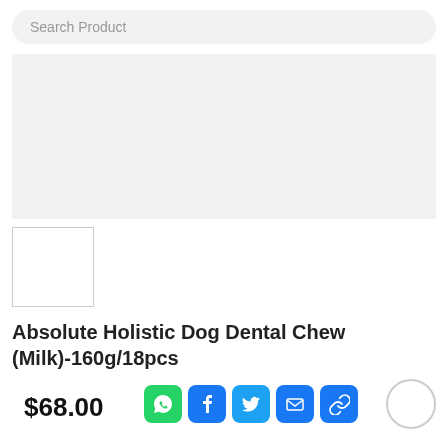Search Product
[Figure (photo): Large product image placeholder (light gray rectangle)]
[Figure (photo): Product thumbnail image (small white square with border)]
Absolute Holistic Dog Dental Chew (Milk)-160g/18pcs
$68.00